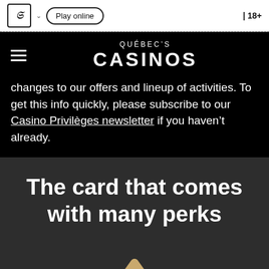Play online | 18+
QUÉBEC'S CASINOS
changes to our offers and lineup of activities. To get this info quickly, please subscribe to our Casino Privilèges newsletter if you haven't already.
The card that comes with many perks
[Figure (illustration): Gold/tan colored upward-pointing arch or chevron shape partially visible at bottom of page]